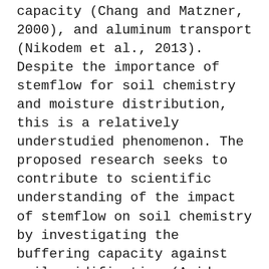capacity (Chang and Matzner, 2000), and aluminum transport (Nikodem et al., 2013). Despite the importance of stemflow for soil chemistry and moisture distribution, this is a relatively understudied phenomenon. The proposed research seeks to contribute to scientific understanding of the impact of stemflow on soil chemistry by investigating the buffering capacity against soil acidification (Acid-Neutralizing Capacity or ANC) of stemflow water in relation to canopies in different forest positions. Forest soil acidification has been reported to promote soil acid infertility, characterized by elevated Al or H+ toxicity and nutrient deficiency (Wolt, 1990). Results of the proposed research can provide valuable insights into forest ecosystem services. This work can also contribute to formulation of